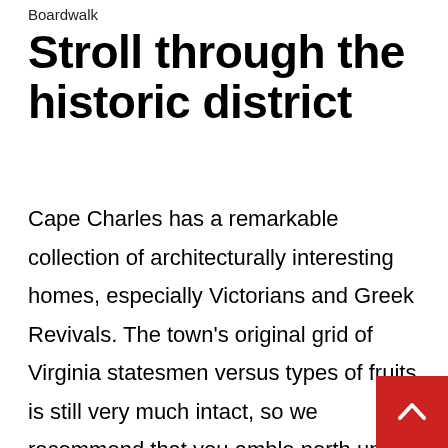Boardwalk
Stroll through the historic district
Cape Charles has a remarkable collection of architecturally interesting homes, especially Victorians and Greek Revivals. The town's original grid of Virginia statesmen versus types of fruits is still very much intact, so we recommend that you amble north up Peach, west (left) on Tazewell, then north (right) on Strawberry for a visit to Cape Charles's lovely Central Park. Then, if you are still game, head east (left) on Monroe to Necta… then north to Jefferson. Take Jefferson west (left) to the